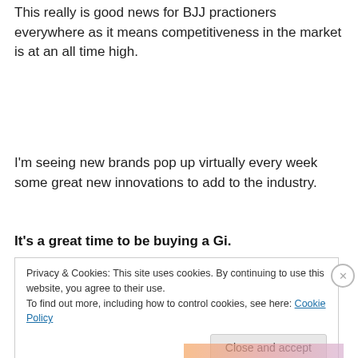This really is good news for BJJ practioners everywhere as it means competitiveness in the market is at an all time high.
I'm seeing new brands pop up virtually every week some great new innovations to add to the industry.
It's a great time to be buying a Gi.
Privacy & Cookies: This site uses cookies. By continuing to use this website, you agree to their use.
To find out more, including how to control cookies, see here: Cookie Policy
Close and accept